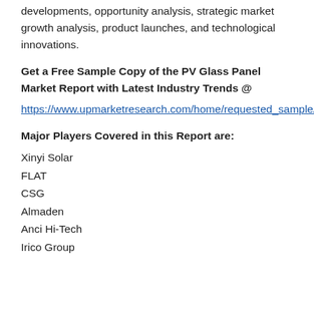developments, opportunity analysis, strategic market growth analysis, product launches, and technological innovations.
Get a Free Sample Copy of the PV Glass Panel Market Report with Latest Industry Trends @
https://www.upmarketresearch.com/home/requested_sample/103434
Major Players Covered in this Report are:
Xinyi Solar
FLAT
CSG
Almaden
Anci Hi-Tech
Irico Group